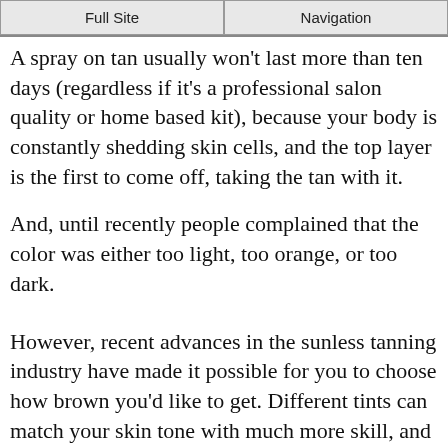Full Site | Navigation
A spray on tan usually won't last more than ten days (regardless if it's a professional salon quality or home based kit), because your body is constantly shedding skin cells, and the top layer is the first to come off, taking the tan with it.
And, until recently people complained that the color was either too light, too orange, or too dark.
However, recent advances in the sunless tanning industry have made it possible for you to choose how brown you'd like to get. Different tints can match your skin tone with much more skill, and provide you with the most flattering glow, and